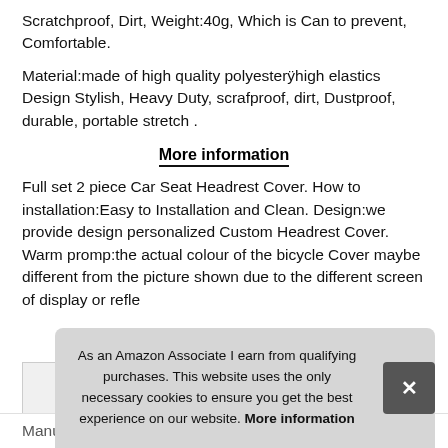Scratchproof, Dirt, Weight:40g, Which is Can to prevent, Comfortable.
Material:made of high quality polyesterÿhigh elastics Design Stylish, Heavy Duty, scrafproof, dirt, Dustproof, durable, portable stretch .
More information
Full set 2 piece Car Seat Headrest Cover. How to installation:Easy to Installation and Clean. Design:we provide design personalized Custom Headrest Cover. Warm promp:the actual colour of the bicycle Cover maybe different from the picture shown due to the different screen of display or refle
As an Amazon Associate I earn from qualifying purchases. This website uses the only necessary cookies to ensure you get the best experience on our website. More information
Manufacturer: Solaranimal